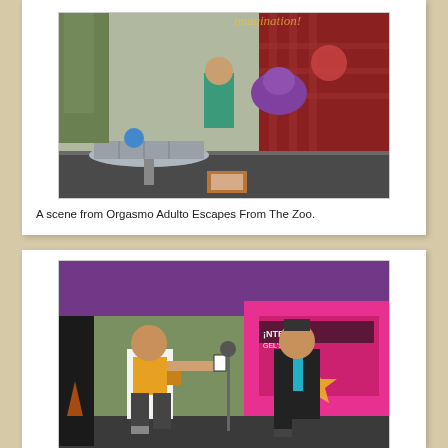[Figure (photo): A scene from a theatrical production showing costumed performers on an outdoor stage with colorful puppet-like figures, including a purple creature and a person in a teal outfit, with a metal table in the foreground and red plaid backdrop.]
A scene from Orgasmo Adulto Escapes From The Zoo.
[Figure (photo): The Amazing Barry performing a magic act on an outdoor stage with a helper from the audience. The helper, a woman in a white jacket and patterned pants holding up a playing card, stands next to a man in a dark suit and teal tie. A colorful van with 'iNTEGRINGE' text is visible in the background.]
The Amazing Barry, with a helper he picked from the audience, doing his